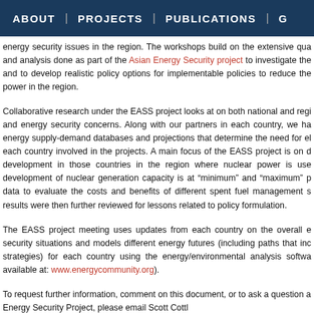ABOUT | PROJECTS | PUBLICATIONS | G
energy security issues in the region. The workshops build on the extensive qua and analysis done as part of the Asian Energy Security project to investigate the and to develop realistic policy options for implementable policies to reduce the power in the region.
Collaborative research under the EASS project looks at on both national and regi and energy security concerns. Along with our partners in each country, we ha energy supply-demand databases and projections that determine the need for el each country involved in the projects. A main focus of the EASS project is on d development in those countries in the region where nuclear power is use development of nuclear generation capacity is at “minimum” and “maximum” p data to evaluate the costs and benefits of different spent fuel management s results were then further reviewed for lessons related to policy formulation.
The EASS project meeting uses updates from each country on the overall e security situations and models different energy futures (including paths that inc strategies) for each country using the energy/environmental analysis softwa available at: www.energycommunity.org).
To request further information, comment on this document, or to ask a question Energy Security Project, please email Scott Cottl